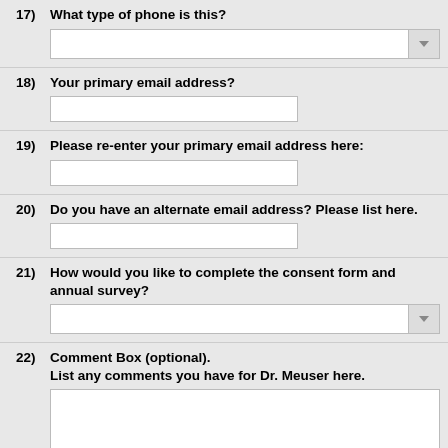17) What type of phone is this?
18) Your primary email address?
19) Please re-enter your primary email address here:
20) Do you have an alternate email address? Please list here.
21) How would you like to complete the consent form and annual survey?
22) Comment Box (optional). List any comments you have for Dr. Meuser here.